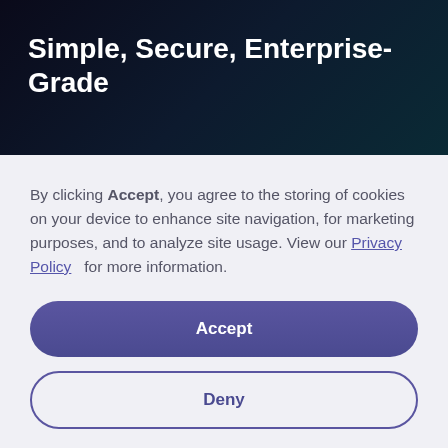Simple, Secure, Enterprise-Grade
By clicking Accept, you agree to the storing of cookies on your device to enhance site navigation, for marketing purposes, and to analyze site usage. View our Privacy Policy for more information.
Accept
Deny
Preferences